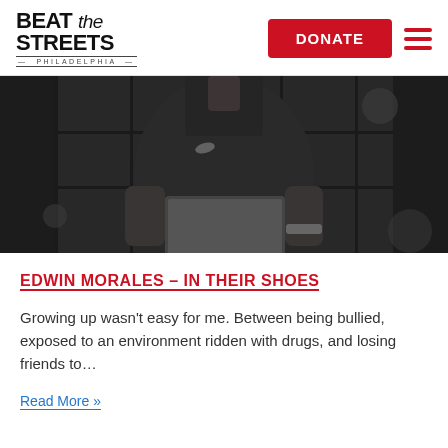BEAT the STREETS PHILADELPHIA
[Figure (photo): Black and white photo of a man in a dark Nike polo shirt holding a clipboard or tablet, standing in front of a window with grid panes. The image is cropped to show the torso and arms only.]
EDWIN MORALES – IN THEIR SHOES
Growing up wasn't easy for me. Between being bullied, exposed to an environment ridden with drugs, and losing friends to…
Read More »